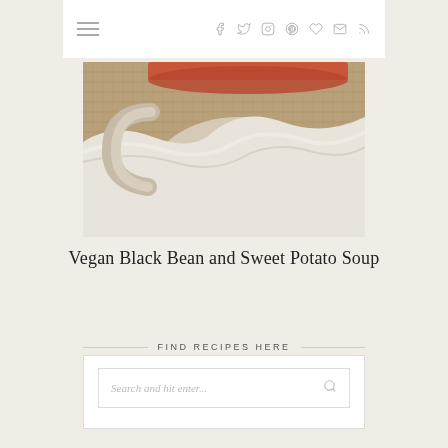Navigation bar with hamburger menu and social icons: facebook, twitter, instagram, pinterest, heart, mail, rss
[Figure (photo): Close-up photo of a ceramic bowl or mug with a white cloth napkin on a burlap surface, suggesting a cozy soup setting]
Vegan Black Bean and Sweet Potato Soup
FIND RECIPES HERE
Search and hit enter...